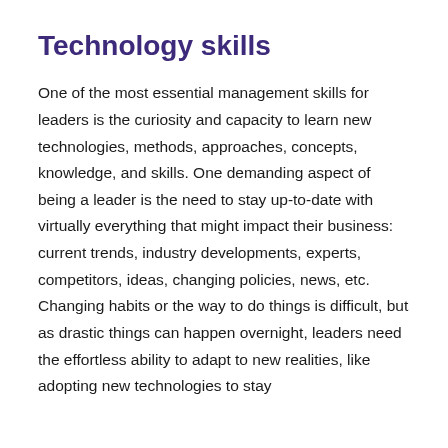Technology skills
One of the most essential management skills for leaders is the curiosity and capacity to learn new technologies, methods, approaches, concepts, knowledge, and skills. One demanding aspect of being a leader is the need to stay up-to-date with virtually everything that might impact their business: current trends, industry developments, experts, competitors, ideas, changing policies, news, etc. Changing habits or the way to do things is difficult, but as drastic things can happen overnight, leaders need the effortless ability to adapt to new realities, like adopting new technologies to stay